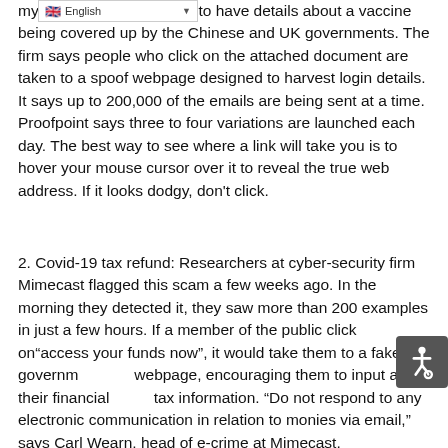mys... to have details about a vaccine being covered up by the Chinese and UK governments. The firm says people who click on the attached document are taken to a spoof webpage designed to harvest login details. It says up to 200,000 of the emails are being sent at a time. Proofpoint says three to four variations are launched each day. The best way to see where a link will take you is to hover your mouse cursor over it to reveal the true web address. If it looks dodgy, don't click.
2. Covid-19 tax refund: Researchers at cyber-security firm Mimecast flagged this scam a few weeks ago. In the morning they detected it, they saw more than 200 examples in just a few hours. If a member of the public click on "access your funds now", it would take them to a fake government webpage, encouraging them to input all their financial and tax information. "Do not respond to any electronic communication in relation to monies via email," says Carl Wearn, head of e-crime at Mimecast.